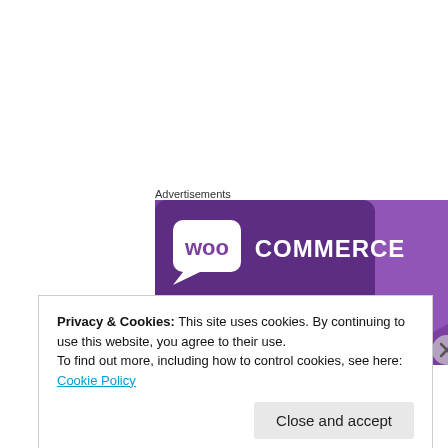Advertisements
[Figure (illustration): WooCommerce advertisement banner with purple background. Shows WooCommerce logo (speech bubble with 'woo' text and 'COMMERCE' beside it) and tagline 'The most customizable eCommerce platform']
Privacy & Cookies: This site uses cookies. By continuing to use this website, you agree to their use.
To find out more, including how to control cookies, see here: Cookie Policy
Close and accept